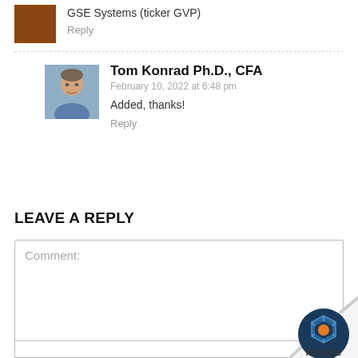GSE Systems (ticker GVP)
Reply
Tom Konrad Ph.D., CFA
February 10, 2022 at 6:48 pm
Added, thanks!
Reply
LEAVE A REPLY
Comment:
[Figure (logo): Manage logo with page curl effect in bottom right corner]